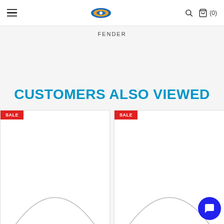Navigation header with hamburger menu, store logo, search icon, and cart (0)
FENDER
CUSTOMERS ALSO VIEWED
[Figure (screenshot): Product card with SALE badge and partial guitar image]
[Figure (screenshot): Product card with SALE badge and partial guitar image]